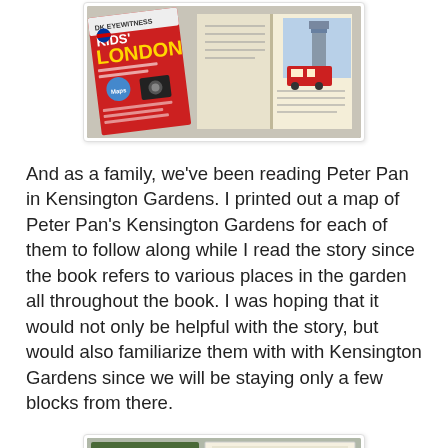[Figure (photo): Photo of Kids' London guidebook open alongside another book with Big Ben visible, placed on a surface.]
And as a family, we've been reading Peter Pan in Kensington Gardens. I printed out a map of Peter Pan's Kensington Gardens for each of them to follow along while I read the story since the book refers to various places in the garden all throughout the book. I was hoping that it would not only be helpful with the story, but would also familiarize them with with Kensington Gardens since we will be staying only a few blocks from there.
[Figure (photo): Photo of a Peter Pan book with illustrated green forest cover alongside a printed map of Kensington Gardens.]